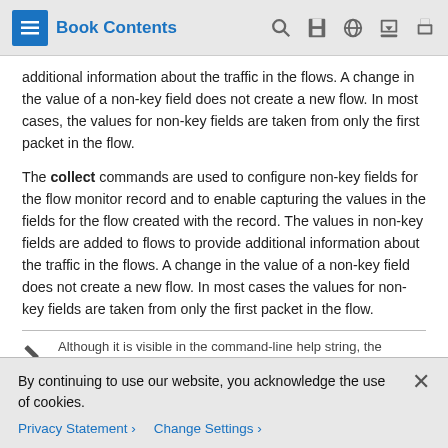Book Contents
additional information about the traffic in the flows. A change in the value of a non-key field does not create a new flow. In most cases, the values for non-key fields are taken from only the first packet in the flow.
The collect commands are used to configure non-key fields for the flow monitor record and to enable capturing the values in the fields for the flow created with the record. The values in non-key fields are added to flows to provide additional information about the traffic in the flows. A change in the value of a non-key field does not create a new flow. In most cases the values for non-key fields are taken from only the first packet in the flow.
Although it is visible in the command-line help string, the
By continuing to use our website, you acknowledge the use of cookies.
Privacy Statement > Change Settings >